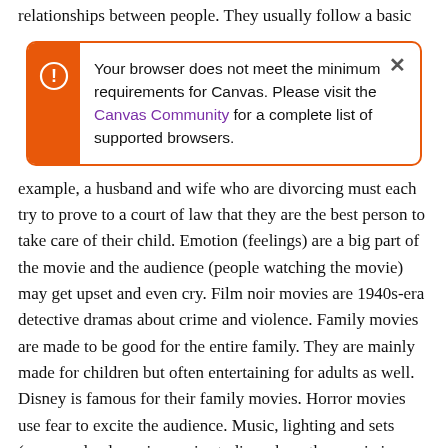relationships between people. They usually follow a basic
[Figure (screenshot): Browser warning dialog box with orange left bar containing exclamation circle icon, text reading: 'Your browser does not meet the minimum requirements for Canvas. Please visit the Canvas Community for a complete list of supported browsers.' with an X close button in the top right corner. Orange border around the entire box.]
example, a husband and wife who are divorcing must each try to prove to a court of law that they are the best person to take care of their child. Emotion (feelings) are a big part of the movie and the audience (people watching the movie) may get upset and even cry. Film noir movies are 1940s-era detective dramas about crime and violence. Family movies are made to be good for the entire family. They are mainly made for children but often entertaining for adults as well. Disney is famous for their family movies. Horror movies use fear to excite the audience. Music, lighting and sets (man-made places in movie studios where the movie is made) are all designed to add to the feeling. Romantic Comedies (Rom-Coms) are usually love stories about 2 people from different worlds, who must overcome obstacles to be together. Rom-